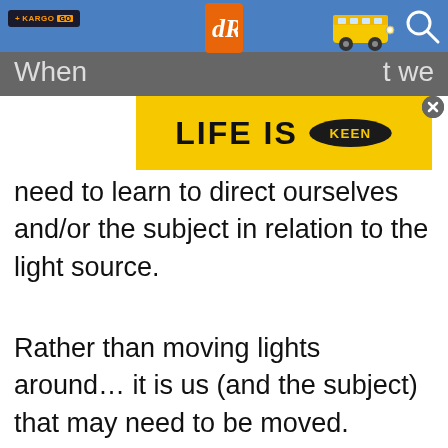[Figure (screenshot): Navigation bar with KARGO+ badge, dR logo, yellow school bus cartoon, and search icon on blue background]
[Figure (infographic): Yellow advertisement banner reading LIFE IS with KEEN logo in bold black text]
When [partially obscured by ad] t we need to learn to direct ourselves and/or the subject in relation to the light source.
Rather than moving lights around... it is us (and the subject) that may need to be moved.